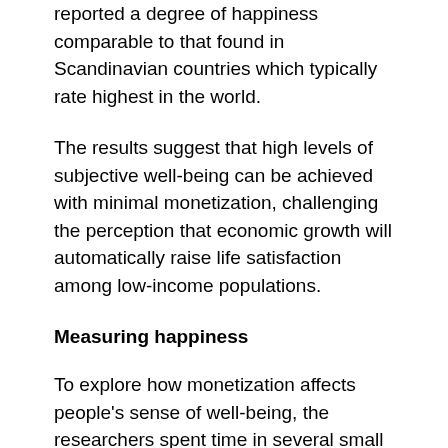reported a degree of happiness comparable to that found in Scandinavian countries which typically rate highest in the world.
The results suggest that high levels of subjective well-being can be achieved with minimal monetization, challenging the perception that economic growth will automatically raise life satisfaction among low-income populations.
Measuring happiness
To explore how monetization affects people's sense of well-being, the researchers spent time in several small fishing communities, with varying degrees of monetization, in the Solomon Islands and Bangladesh,